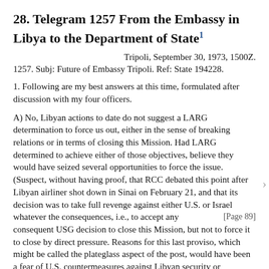28. Telegram 1257 From the Embassy in Libya to the Department of State¹
Tripoli, September 30, 1973, 1500Z.
1257. Subj: Future of Embassy Tripoli. Ref: State 194228.
1. Following are my best answers at this time, formulated after discussion with my four officers.
A) No, Libyan actions to date do not suggest a LARG determination to force us out, either in the sense of breaking relations or in terms of closing this Mission. Had LARG determined to achieve either of those objectives, believe they would have seized several opportunities to force the issue. (Suspect, without having proof, that RCC debated this point after Libyan airliner shot down in Sinai on February 21, and that its decision was to take full revenge against either U.S. or Israel whatever the consequences, i.e., to accept any [Page 89] consequent USG decision to close this Mission, but not to force it to close by direct pressure. Reasons for this last proviso, which might be called the plateglass aspect of the post, would have been a fear of U.S. countermeasures against Libyan security or